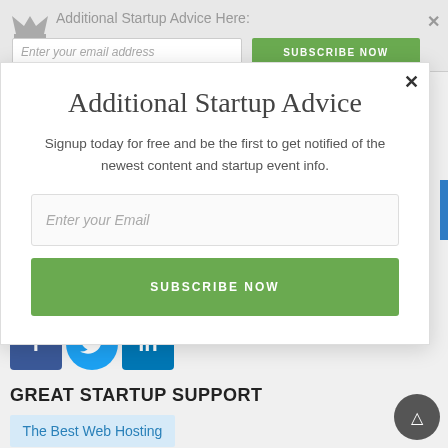Additional Startup Advice Here:
[Figure (screenshot): Modal popup with title 'Additional Startup Advice', subtitle text, email input field, and Subscribe Now button]
[Figure (infographic): Social share icons: Facebook (f), Twitter (bird), LinkedIn (in)]
GREAT STARTUP SUPPORT
The Best Web Hosting